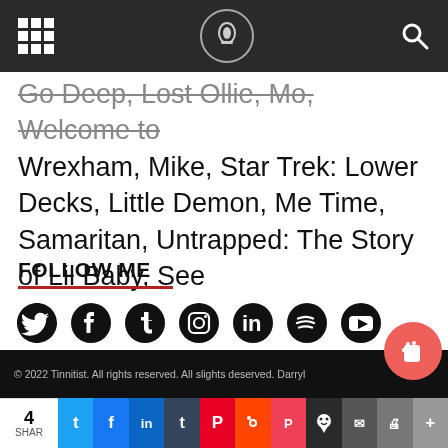Tinnitist navigation bar
Go Deep, Lost Ollie, Mo, Welcome to Wrexham, Mike, Star Trek: Lower Decks, Little Demon, Me Time, Samaritan, Untrapped: The Story of Lil Baby, See
FOLLOW ME
[Figure (infographic): Social media icons row: Twitter, Facebook, Tumblr, Instagram, LinkedIn, Spotify, YouTube]
[Figure (infographic): Buy Me a Beer button with coffee cup icon on coral/red background]
© 2022 Tinnitist. All rights reserved. All slights deserved. Darryl
4 SHAR | Share buttons: Twitter, Facebook, LinkedIn, Tumblr, Pinterest, Reddit, Pocket, Skull, Email, Print, More